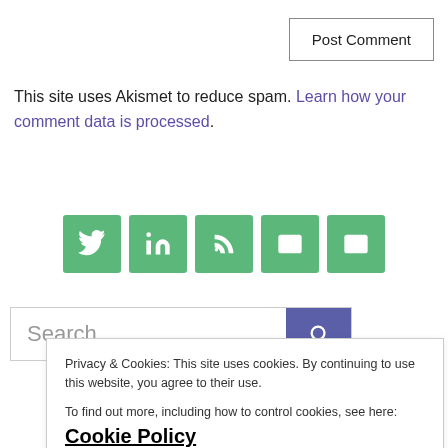Post Comment
This site uses Akismet to reduce spam. Learn how your comment data is processed.
[Figure (infographic): Row of 5 green social media/share icon buttons: Twitter, LinkedIn, RSS feed, Email, Email]
Search
Privacy & Cookies: This site uses cookies. By continuing to use this website, you agree to their use. To find out more, including how to control cookies, see here: Cookie Policy
Close and accept